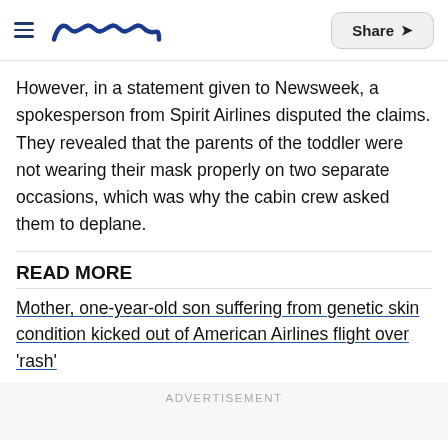Meaww | Share
However, in a statement given to Newsweek, a spokesperson from Spirit Airlines disputed the claims. They revealed that the parents of the toddler were not wearing their mask properly on two separate occasions, which was why the cabin crew asked them to deplane.
READ MORE
Mother, one-year-old son suffering from genetic skin condition kicked out of American Airlines flight over 'rash'
ADVERTISEMENT
You May Like
[Figure (photo): Thumbnail image strip at the bottom of the page showing nature/landscape photos]